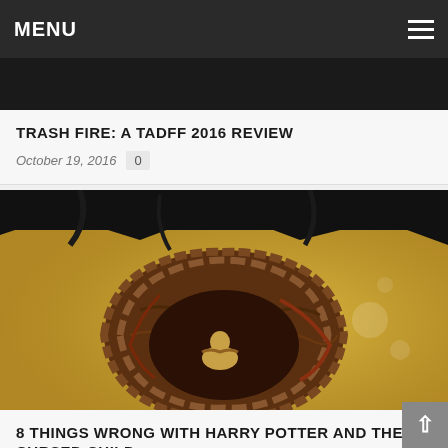MENU
TRASH FIRE: A TADFF 2016 REVIEW
October 19, 2016   0
[Figure (photo): Bird nest with a small figure inside, set against a yellow/golden background with dark tree branches at the top — Harry Potter and the Cursed Child book cover artwork]
8 THINGS WRONG WITH HARRY POTTER AND THE CURSED CHILD
August 11, 2016   2